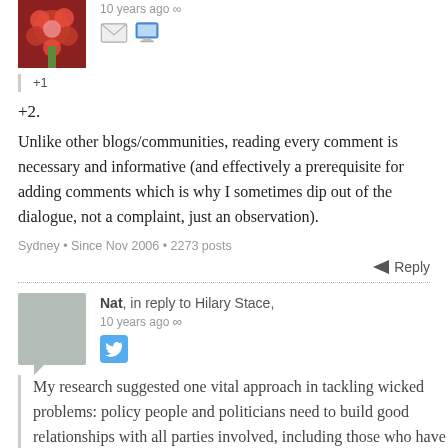10 years ago
+1
+2.
Unlike other blogs/communities, reading every comment is necessary and informative (and effectively a prerequisite for adding comments which is why I sometimes dip out of the dialogue, not a complaint, just an observation).
Sydney • Since Nov 2006 • 2273 posts
Reply
Nat, in reply to Hilary Stace, 10 years ago
My research suggested one vital approach in tackling wicked problems: policy people and politicians need to build good relationships with all parties involved, including those who have 'lived experience' of the issues. The wisdom of those who are the targets of the policies is